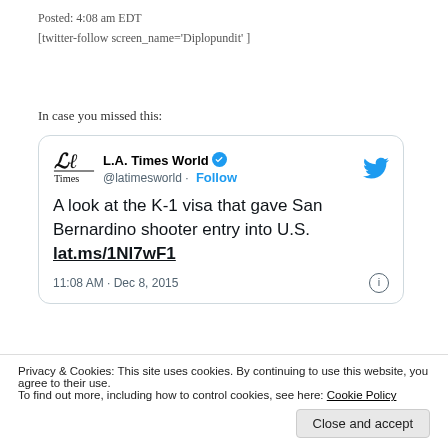Posted: 4:08 am EDT
[twitter-follow screen_name='Diplopundit' ]
In case you missed this:
[Figure (screenshot): Embedded tweet from L.A. Times World (@latimesworld) with verified badge and Follow button. Tweet text: 'A look at the K-1 visa that gave San Bernardino shooter entry into U.S. lat.ms/1Nl7wF1'. Posted 11:08 AM · Dec 8, 2015.]
Privacy & Cookies: This site uses cookies. By continuing to use this website, you agree to their use.
To find out more, including how to control cookies, see here: Cookie Policy
Close and accept